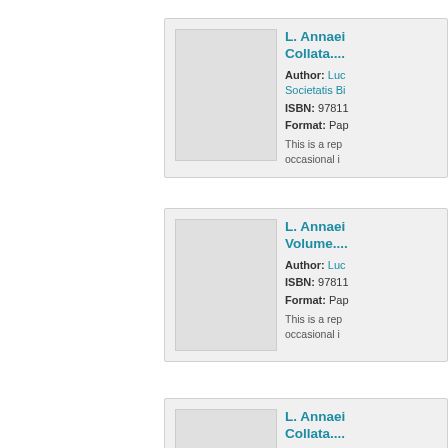L. Annaei... Collata....
Author: Lucii... Societatis Bi... ISBN: 97811... Format: Pap... This is a rep... occasional i...
L. Annaei... Volume...
Author: Luc... ISBN: 97811... Format: Pap... This is a rep... occasional i...
L. Annaei... Collata...